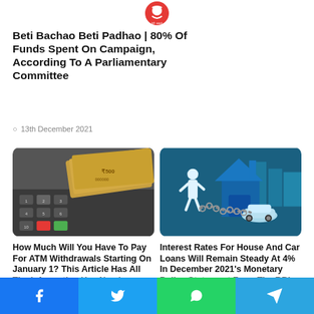[Figure (logo): Beti Bachao Beti Padhao circular logo with Hindi text]
Beti Bachao Beti Padhao | 80% Of Funds Spent On Campaign, According To A Parliamentary Committee
13th December 2021
[Figure (photo): Indian rupee currency notes on ATM keypad]
How Much Will You Have To Pay For ATM Withdrawals Starting On January 1? This Article Has All The Information You Need
[Figure (illustration): Illustration of a person chained to a car in front of a house, representing loan burden]
Interest Rates For House And Car Loans Will Remain Steady At 4% In December 2021's Monetary Policy Statement From The RBI